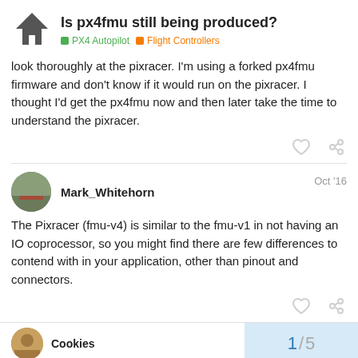Is px4fmu still being produced? | PX4 Autopilot | Flight Controllers
look thoroughly at the pixracer. I'm using a forked px4fmu firmware and don't know if it would run on the pixracer. I thought I'd get the px4fmu now and then later take the time to understand the pixracer.
Mark_Whitehorn — Oct '16
The Pixracer (fmu-v4) is similar to the fmu-v1 in not having an IO coprocessor, so you might find there are few differences to contend with in your application, other than pinout and connectors.
Cookies — 1 / 5